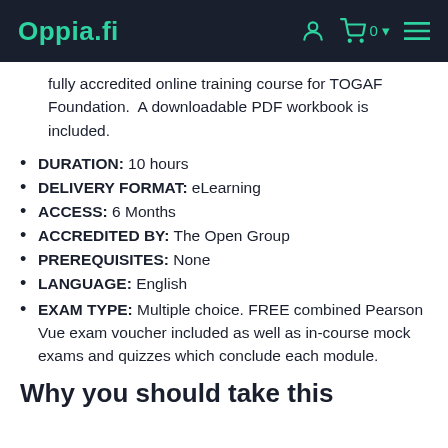Oppia.fi
fully accredited online training course for TOGAF Foundation.  A downloadable PDF workbook is included.
DURATION: 10 hours
DELIVERY FORMAT: eLearning
ACCESS: 6 Months
ACCREDITED BY: The Open Group
PREREQUISITES: None
LANGUAGE: English
EXAM TYPE: Multiple choice. FREE combined Pearson Vue exam voucher included as well as in-course mock exams and quizzes which conclude each module.
Why you should take this